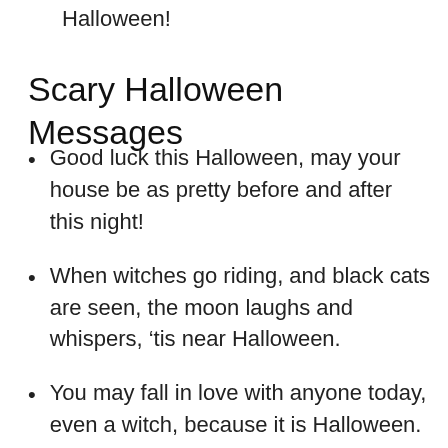Halloween!
Scary Halloween Messages
Good luck this Halloween, may your house be as pretty before and after this night!
When witches go riding, and black cats are seen, the moon laughs and whispers, ‘tis near Halloween.
You may fall in love with anyone today, even a witch, because it is Halloween.
Trick or treat, the choice is yours. May you have a happy Halloween, from my